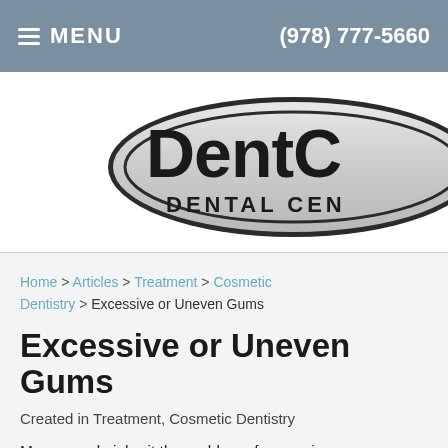≡ MENU   (978) 777-5660
[Figure (logo): DentC... Dental Cen... logo — partial dental center logo in an oval metallic badge shape, cut off on the right]
Home > Articles > Treatment > Cosmetic Dentistry > Excessive or Uneven Gums
Excessive or Uneven Gums
Created in Treatment, Cosmetic Dentistry
Many people inherit the problem of excessive or uneven gums. An aesthetic surgical procedure called